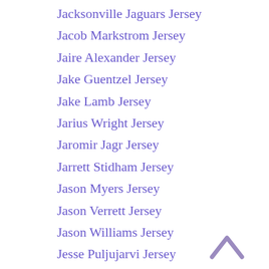Jacksonville Jaguars Jersey
Jacob Markstrom Jersey
Jaire Alexander Jersey
Jake Guentzel Jersey
Jake Lamb Jersey
Jarius Wright Jersey
Jaromir Jagr Jersey
Jarrett Stidham Jersey
Jason Myers Jersey
Jason Verrett Jersey
Jason Williams Jersey
Jesse Puljujarvi Jersey
Jimmy Smith Jersey
Joe Carter Jersey